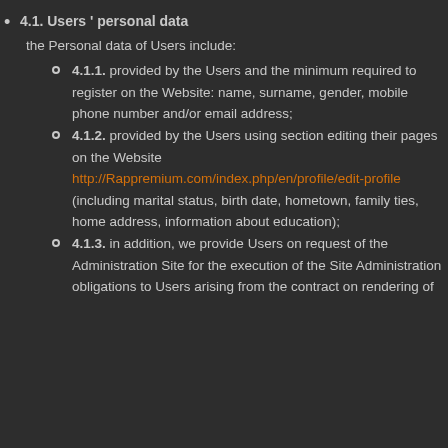4.1. Users ' personal data
the Personal data of Users include:
4.1.1. provided by the Users and the minimum required to register on the Website: name, surname, gender, mobile phone number and/or email address;
4.1.2. provided by the Users using section editing their pages on the Website http://Rappremium.com/index.php/en/profile/edit-profile (including marital status, birth date, hometown, family ties, home address, information about education);
4.1.3. in addition, we provide Users on request of the Administration Site for the execution of the Site Administration obligations to Users arising from the contract on rendering of